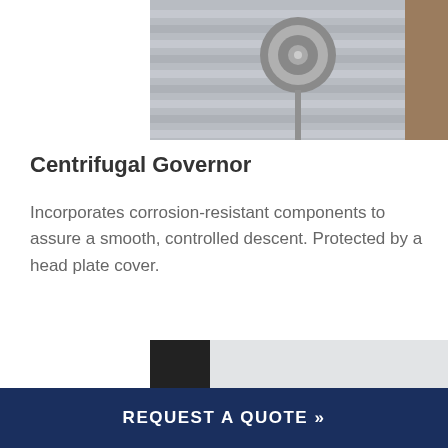[Figure (photo): Close-up photo of a centrifugal governor mechanical component with a round metal disc and rod, mounted on aluminum slat tracks with a wooden frame visible.]
Centrifugal Governor
Incorporates corrosion-resistant components to assure a smooth, controlled descent. Protected by a head plate cover.
[Figure (photo): Close-up photo of an aluminum roller shutter door bottom section showing the slats, guide rail, and bottom seal rubber on a dark background.]
REQUEST A QUOTE »